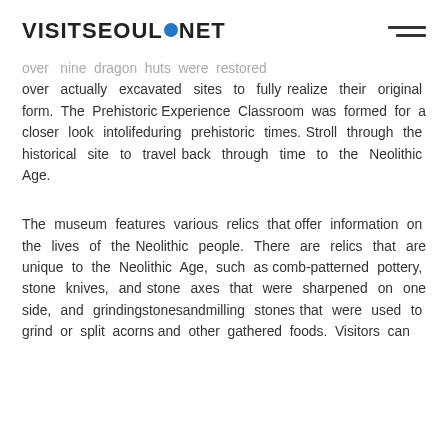VISITSEOUL.NET
over actually excavated sites to fully realize their original form. The Prehistoric Experience Classroom was formed for a closer look intolifeduring prehistoric times. Stroll through the historical site to travel back through time to the Neolithic Age.
The museum features various relics that offer information on the lives of the Neolithic people. There are relics that are unique to the Neolithic Age, such as comb-patterned pottery, stone knives, and stone axes that were sharpened on one side, and grindingstonesandmilling stones that were used to grind or split acorns and other gathered foods. Visitors can